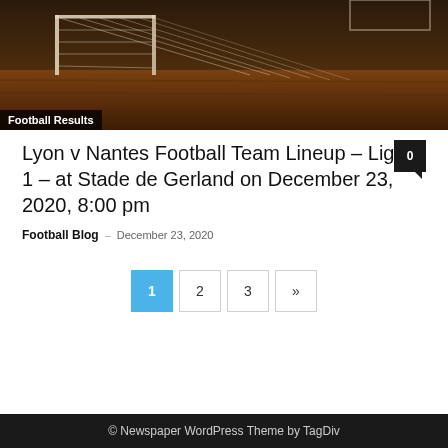[Figure (photo): Football goal on a grass field with warm orange/brown tones, photographed at dusk or in autumn light]
Football Results
Lyon v Nantes Football Team Lineup – Ligue 1 – at Stade de Gerland on December 23, 2020, 8:00 pm
Football Blog – December 23, 2020
0
1 2 3 »
© Newspaper WordPress Theme by TagDiv